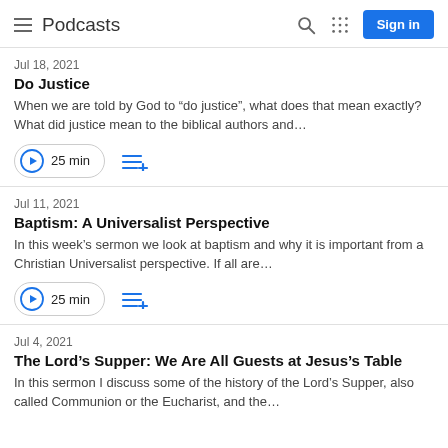Podcasts
Jul 18, 2021
Do Justice
When we are told by God to “do justice”, what does that mean exactly? What did justice mean to the biblical authors and…
25 min
Jul 11, 2021
Baptism: A Universalist Perspective
In this week’s sermon we look at baptism and why it is important from a Christian Universalist perspective. If all are…
25 min
Jul 4, 2021
The Lord’s Supper: We Are All Guests at Jesus’s Table
In this sermon I discuss some of the history of the Lord’s Supper, also called Communion or the Eucharist, and the…